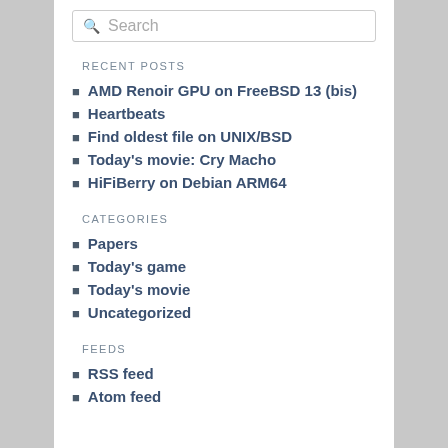Search
RECENT POSTS
AMD Renoir GPU on FreeBSD 13 (bis)
Heartbeats
Find oldest file on UNIX/BSD
Today's movie: Cry Macho
HiFiBerry on Debian ARM64
CATEGORIES
Papers
Today's game
Today's movie
Uncategorized
FEEDS
RSS feed
Atom feed